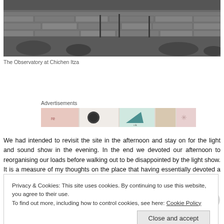[Figure (photo): Black and white photograph of a stone wall structure at Chichen Itza, with sparse vegetation in the foreground and wooden poles visible]
The Observatory at Chichen Itza
Advertisements
[Figure (other): Colorful advertisements banner with partial images]
We had intended to revisit the site in the afternoon and stay on for the light and sound show in the evening. In the end we devoted our afternoon to reorganising our loads before walking out to be disappointed by the light show. It is a measure of my thoughts on the place that having essentially devoted a day to
Privacy & Cookies: This site uses cookies. By continuing to use this website, you agree to their use.
To find out more, including how to control cookies, see here: Cookie Policy
Close and accept